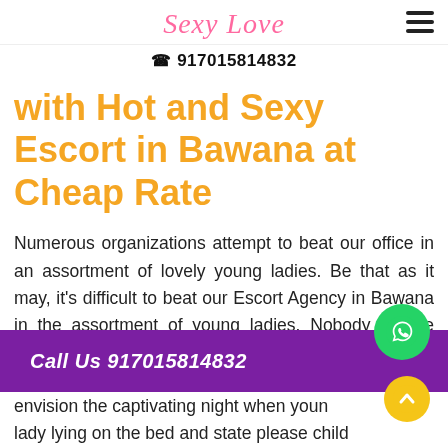Sexy Love
☎ 917015814832
with Hot and Sexy Escort in Bawana at Cheap Rate
Numerous organizations attempt to beat our office in an assortment of lovely young ladies. Be that as it may, it's difficult to beat our Escort Agency in Bawana in the assortment of young ladies. Nobody on the planet can envision the captivating night when young lady lying on the bed and state please child
Call Us 917015814832